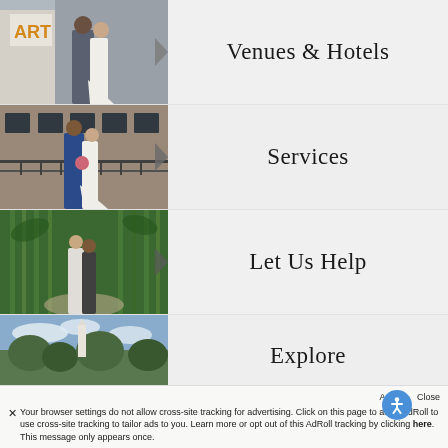[Figure (photo): Couple in formal wedding attire standing outside near a building with 'ART' signage]
Venues & Hotels
[Figure (photo): Couple in wedding attire standing on an outdoor terrace of a brick building]
Services
[Figure (photo): Couple standing in a green bamboo forest pathway]
Let Us Help
[Figure (photo): Outdoor landscape with trees and a white monument or lighthouse in the background]
Explore
Accept  Close
✕ Your browser settings do not allow cross-site tracking for advertising. Click on this page to allow AdRoll to use cross-site tracking to tailor ads to you. Learn more or opt out of this AdRoll tracking by clicking here. This message only appears once.